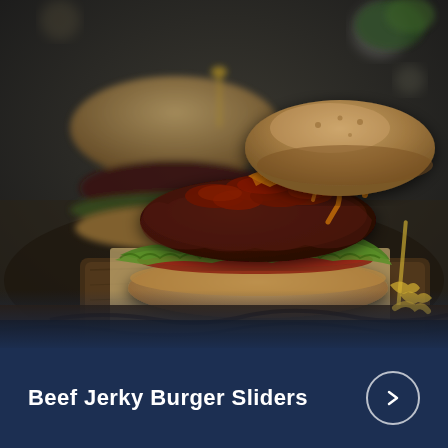[Figure (photo): Close-up food photography of beef jerky burger sliders on a wooden board with parchment paper. The foreground shows an open slider with a thick beef patty topped with dark beef jerky pieces and melted cheese sauce, sitting on a bottom bun with lettuce and tomato. A second slider with a decorative toothpick is visible in the blurred background. Dark moody lighting with bokeh background.]
Beef Jerky Burger Sliders